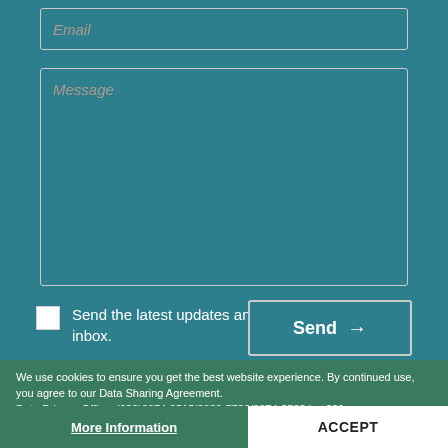[Figure (screenshot): Email input field with placeholder text 'Email' on a teal background]
[Figure (screenshot): Message textarea field with placeholder text 'Message' on a teal background with resize handle]
Send the latest updates and special promos to my inbox.
Send →
We use cookies to ensure you get the best website experience. By continued use, you agree to our Data Sharing Agreement. Data Privacy Office: (632)8874-8515/8880-7700/8874-2582 loc 239
More Information
ACCEPT